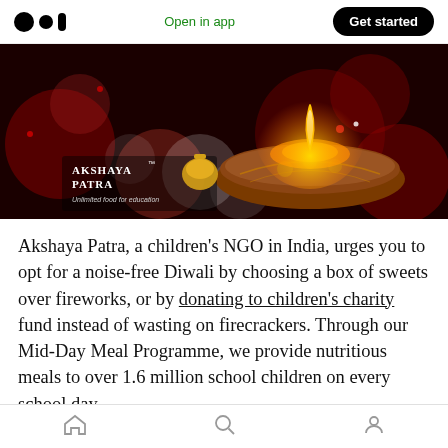Open in app | Get started
[Figure (photo): Akshaya Patra banner image: a lit diya (oil lamp) on a dark red bokeh background with the Akshaya Patra logo and tagline 'Unlimited food for education']
Akshaya Patra, a children’s NGO in India, urges you to opt for a noise-free Diwali by choosing a box of sweets over fireworks, or by donating to children’s charity fund instead of wasting on firecrackers. Through our Mid-Day Meal Programme, we provide nutritious meals to over 1.6 million school children on every school day.
Home | Search | Profile